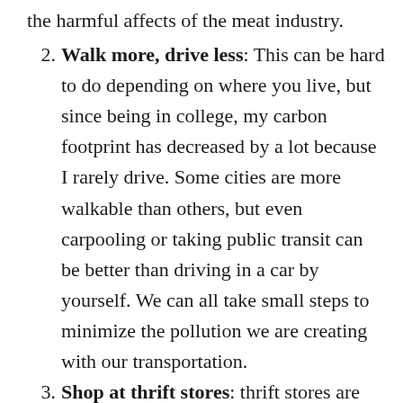the harmful affects of the meat industry.
Walk more, drive less: This can be hard to do depending on where you live, but since being in college, my carbon footprint has decreased by a lot because I rarely drive. Some cities are more walkable than others, but even carpooling or taking public transit can be better than driving in a car by yourself. We can all take small steps to minimize the pollution we are creating with our transportation.
Shop at thrift stores: thrift stores are actually some of the coolest places to shop and you are helping the earth by reusing clothes instead of buying new ones. A lot of clothes end up in the trash, but thrifting helps extend the product life of clothes. It can be a good way to support